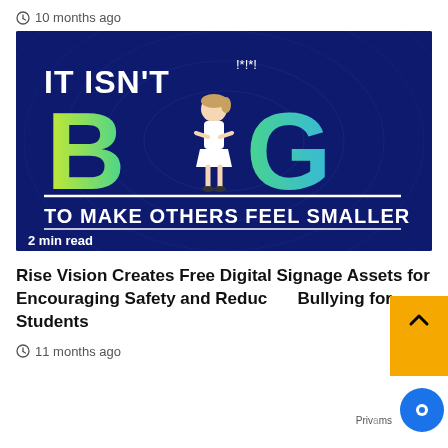10 months ago
[Figure (illustration): Anti-bullying graphic on dark blue background with text 'IT ISN'T BIG TO MAKE OTHERS FEEL SMALLER' with a cartoon girl standing between large colorful letters B and G. Text '2 min read' at bottom left.]
Rise Vision Creates Free Digital Signage Assets for Encouraging Safety and Reducing Bullying for Students
11 months ago